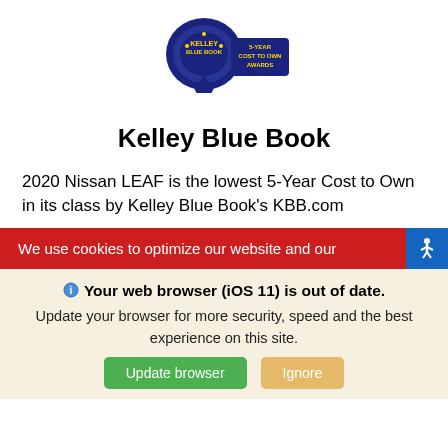[Figure (logo): Kelley Blue Book 5-Year Cost to Own Awards badge/logo]
Kelley Blue Book
2020 Nissan LEAF is the lowest 5-Year Cost to Own in its class by Kelley Blue Book's KBB.com
We use cookies to optimize our website and our
Your web browser (iOS 11) is out of date. Update your browser for more security, speed and the best experience on this site.